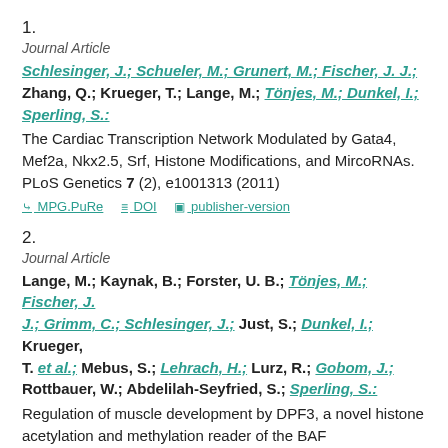1.
Journal Article
Schlesinger, J.; Schueler, M.; Grunert, M.; Fischer, J. J.; Zhang, Q.; Krueger, T.; Lange, M.; Tönjes, M.; Dunkel, I.; Sperling, S.:
The Cardiac Transcription Network Modulated by Gata4, Mef2a, Nkx2.5, Srf, Histone Modifications, and MircoRNAs. PLoS Genetics 7 (2), e1001313 (2011)
MPG.PuRe   DOI   publisher-version
2.
Journal Article
Lange, M.; Kaynak, B.; Forster, U. B.; Tönjes, M.; Fischer, J. J.; Grimm, C.; Schlesinger, J.; Just, S.; Dunkel, I.; Krueger, T. et al.; Mebus, S.; Lehrach, H.; Lurz, R.; Gobom, J.; Rottbauer, W.; Abdelilah-Seyfried, S.; Sperling, S.:
Regulation of muscle development by DPF3, a novel histone acetylation and methylation reader of the BAF